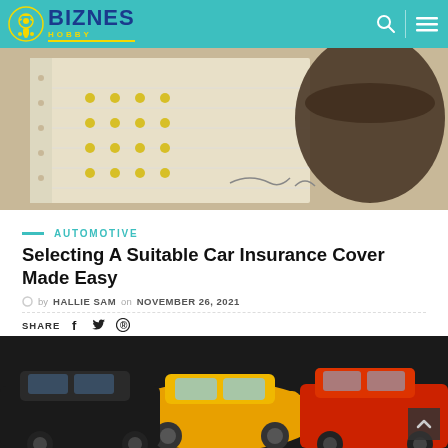[Figure (screenshot): Website header bar for Biznes Hobby with teal background, logo, search icon, and hamburger menu]
[Figure (photo): Close-up photo of a document with dotted holes and a round object, likely money/coins related]
AUTOMOTIVE
Selecting A Suitable Car Insurance Cover Made Easy
by HALLIE SAM on NOVEMBER 26, 2021
SHARE
[Figure (photo): Photo of toy cars (black, yellow, red) representing car insurance article]